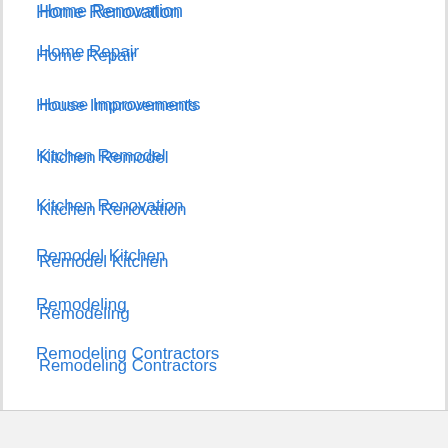Home Renovation
Home Repair
House Improvements
Kitchen Remodel
Kitchen Renovation
Remodel Kitchen
Remodeling
Remodeling Contractors
Renovation Contractor
Renovation Costs
Renovation House
Room Additions